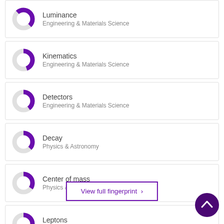Luminance - Engineering & Materials Science
Kinematics - Engineering & Materials Science
Detectors - Engineering & Materials Science
Decay - Physics & Astronomy
Center of mass - Physics & Astronomy
Leptons - Physics & Astronomy
View full fingerprint ›